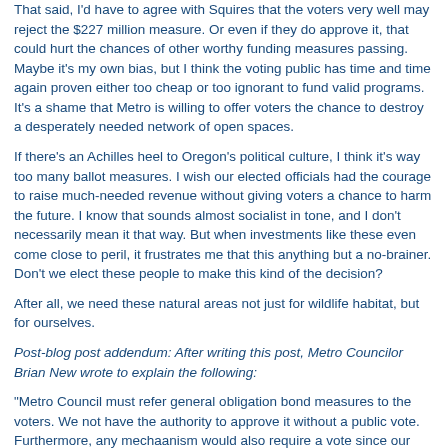That said, I'd have to agree with Squires that the voters very well may reject the $227 million measure. Or even if they do approve it, that could hurt the chances of other worthy funding measures passing. Maybe it's my own bias, but I think the voting public has time and time again proven either too cheap or too ignorant to fund valid programs. It's a shame that Metro is willing to offer voters the chance to destroy a desperately needed network of open spaces.
If there's an Achilles heel to Oregon's political culture, I think it's way too many ballot measures. I wish our elected officials had the courage to raise much-needed revenue without giving voters a chance to harm the future. I know that sounds almost socialist in tone, and I don't necessarily mean it that way. But when investments like these even come close to peril, it frustrates me that this is anything but a no-brainer. Don't we elect these people to make this kind of the decision?
After all, we need these natural areas not just for wildlife habitat, but for ourselves.
Post-blog post addendum: After writing this post, Metro Councilor Brian New wrote to explain the following:
"Metro Council must refer general obligation bond measures to the voters. We not have the authority to approve it without a public vote. Furthermore, any mechaanism would also require a vote since our agency has a spending cap that can only be exceeded with a vote of the public."